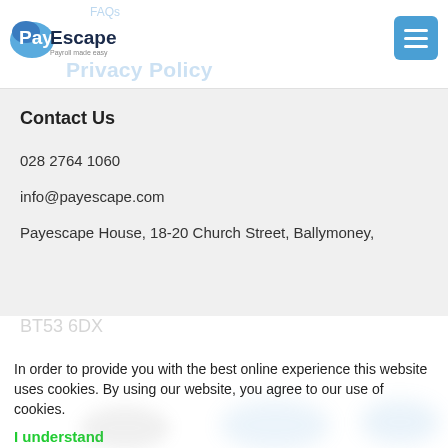PayEscape – Payroll made easy
FAQs  Privacy Policy
Contact Us
028 2764 1060
info@payescape.com
Payescape House, 18-20 Church Street, Ballymoney,
BT53 6DX
In order to provide you with the best online experience this website uses cookies. By using our website, you agree to our use of cookies.
I understand
Find out more